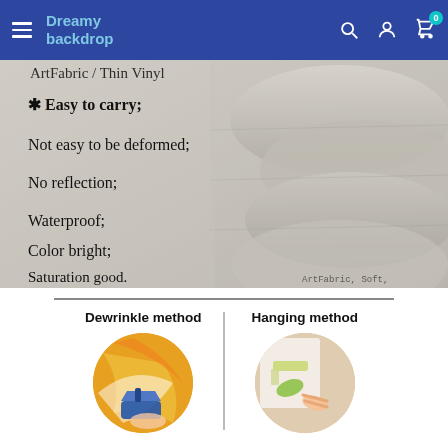Dreamy backdrop
[Figure (photo): Product photo showing stacked rolled fabric backdrops with text overlay listing features: Easy to carry; Not easy to be deformed; No reflection; Waterproof; Color bright; Saturation good. ArtFabric, Soft watermark in corner.]
[Figure (infographic): Two circular images showing Dewrinkle method (iron being used on colorful fabric) and Hanging method (hands hanging backdrop with tape), separated by a vertical line, with a horizontal divider above.]